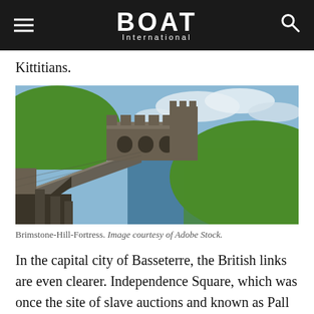BOAT International
Kittitians.
[Figure (photo): Brimstone Hill Fortress with green hillside, stone walls and battlements, overlooking the ocean under a partly cloudy sky.]
Brimstone-Hill-Fortress. Image courtesy of Adobe Stock.
In the capital city of Basseterre, the British links are even clearer. Independence Square, which was once the site of slave auctions and known as Pall Mall, features paths that